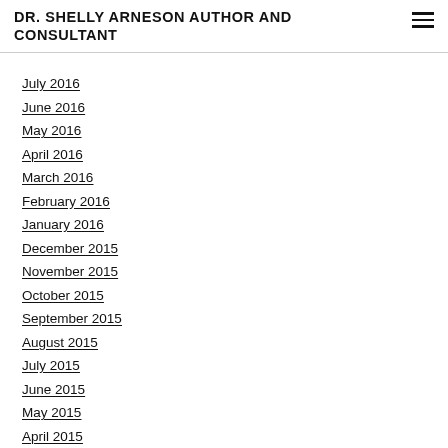DR. SHELLY ARNESON AUTHOR AND CONSULTANT
July 2016
June 2016
May 2016
April 2016
March 2016
February 2016
January 2016
December 2015
November 2015
October 2015
September 2015
August 2015
July 2015
June 2015
May 2015
April 2015